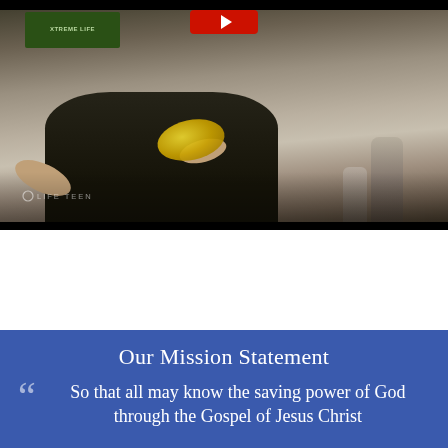[Figure (photo): Screenshot of a video player showing a person in a dark shirt tossing a yellow frisbee outdoors on a sunny day. A Life Teen watermark is visible in the lower left. A red play button appears at the top center. A green sign is visible in the upper left.]
Our Mission Statement
So that all may know the saving power of God through the Gospel of Jesus Christ